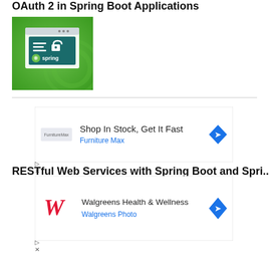OAuth 2 in Spring Boot Applications
[Figure (illustration): Spring Boot security illustration showing a browser window with a padlock icon and the Spring logo with the text 'spring' on a green background]
[Figure (other): Advertisement: Shop In Stock, Get It Fast - Furniture Max]
RESTful Web Services with Spring Boot and Spring...
[Figure (other): Advertisement: Walgreens Health & Wellness - Walgreens Photo]